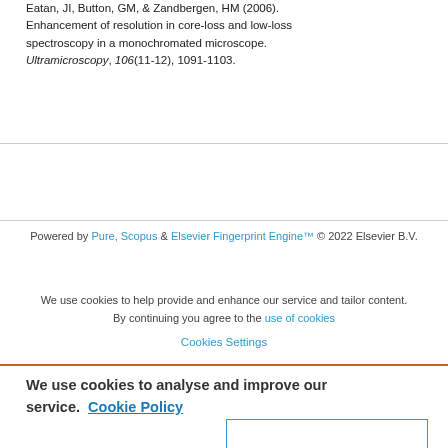Eaton, JI, Button, GM, & Zandbergen, HM (2006). Enhancement of resolution in core-loss and low-loss spectroscopy in a monochromated microscope. Ultramicroscopy, 106(11-12), 1091-1103.
Powered by Pure, Scopus & Elsevier Fingerprint Engine™ © 2022 Elsevier B.V.
We use cookies to help provide and enhance our service and tailor content. By continuing you agree to the use of cookies
Cookies Settings
We use cookies to analyse and improve our service. Cookie Policy